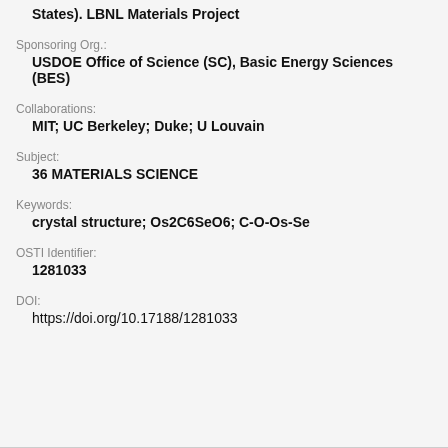States). LBNL Materials Project
Sponsoring Org.:
USDOE Office of Science (SC), Basic Energy Sciences (BES)
Collaborations:
MIT; UC Berkeley; Duke; U Louvain
Subject:
36 MATERIALS SCIENCE
Keywords:
crystal structure; Os2C6SeO6; C-O-Os-Se
OSTI Identifier:
1281033
DOI:
https://doi.org/10.17188/1281033